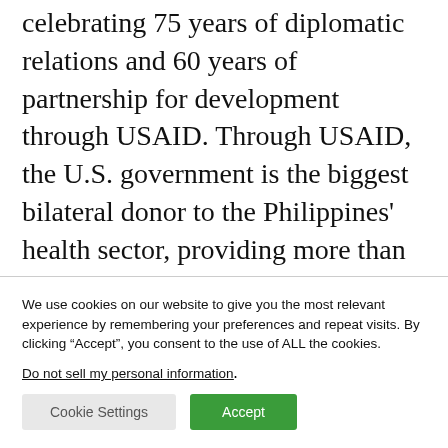celebrating 75 years of diplomatic relations and 60 years of partnership for development through USAID. Through USAID, the U.S. government is the biggest bilateral donor to the Philippines' health sector, providing more than Php29 billion ($582 million) over the past 20 years. (US Embassy in the Philippines)
We use cookies on our website to give you the most relevant experience by remembering your preferences and repeat visits. By clicking “Accept”, you consent to the use of ALL the cookies.
Do not sell my personal information.